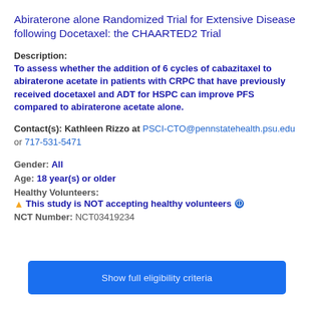Abiraterone alone Randomized Trial for Extensive Disease following Docetaxel: the CHAARTED2 Trial
Description:
To assess whether the addition of 6 cycles of cabazitaxel to abiraterone acetate in patients with CRPC that have previously received docetaxel and ADT for HSPC can improve PFS compared to abiraterone acetate alone.
Contact(s): Kathleen Rizzo at PSCI-CTO@pennstatehealth.psu.edu or 717-531-5471
Gender: All
Age: 18 year(s) or older
Healthy Volunteers:
⚠ This study is NOT accepting healthy volunteers ℹ
NCT Number: NCT03419234
Show full eligibility criteria